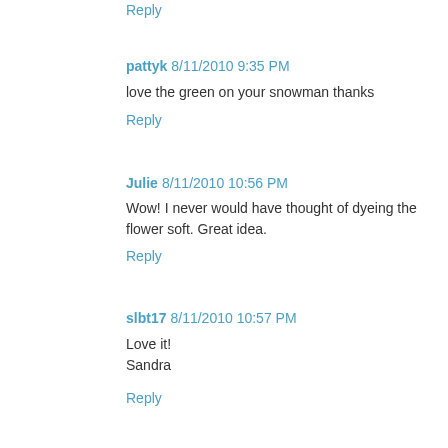Reply
pattyk  8/11/2010 9:35 PM
love the green on your snowman thanks
Reply
Julie  8/11/2010 10:56 PM
Wow! I never would have thought of dyeing the flower soft. Great idea.
Reply
slbt17  8/11/2010 10:57 PM
Love it!
Sandra
Reply